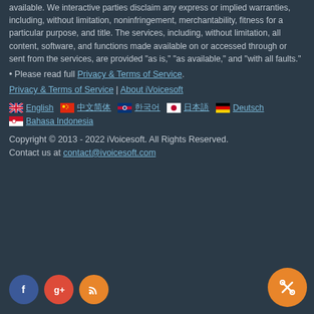available. We interactive parties disclaim any express or implied warranties, including, without limitation, noninfringement, merchantability, fitness for a particular purpose, and title. The services, including, without limitation, all content, software, and functions made available on or accessed through or sent from the services, are provided "as is," "as available," and "with all faults."
• Please read full Privacy & Terms of Service.
Privacy & Terms of Service | About iVoicesoft
English  中文简体  한국어  日本語  Deutsch  Bahasa Indonesia
Copyright © 2013 - 2022 iVoicesoft. All Rights Reserved.
Contact us at contact@ivoicesoft.com